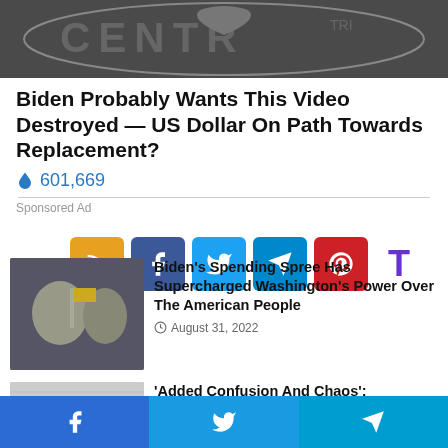[Figure (photo): Partial CIA logo/seal visible at top of page]
Biden Probably Wants This Video Destroyed — US Dollar On Path Towards Replacement?
🔥 601,669
Sponsored Ad
[Figure (infographic): Row of social media share buttons: RSS (orange), Facebook (blue), Twitter (light blue), Telegram (teal), Pinterest (red), and a T-shaped icon (purple)]
[Figure (photo): Photo of two people, appearing to be political figures]
Biden's Spending Spree Has Supercharged Washington's Power Over The American People
August 31, 2022
[Figure (photo): Partial thumbnail image showing text content]
'Added Confusion And Chaos':
[Figure (infographic): Bottom navigation bar with Facebook, Twitter, and Telegram share buttons]